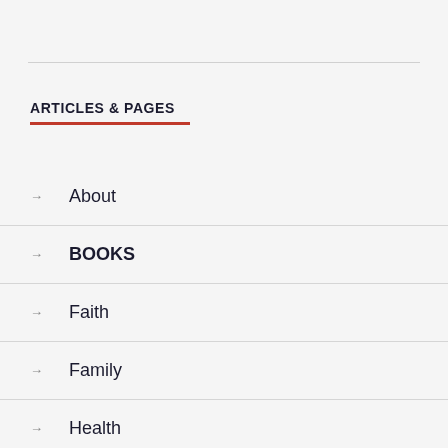ARTICLES & PAGES
About
BOOKS
Faith
Family
Health
Household